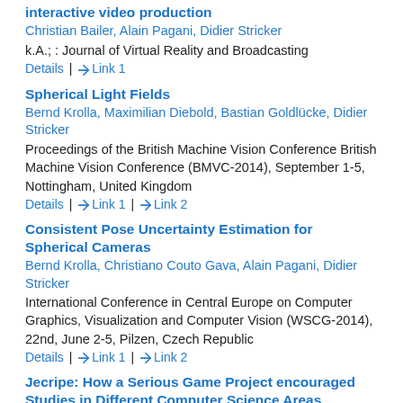interactive video production
Christian Bailer, Alain Pagani, Didier Stricker
k.A.; : Journal of Virtual Reality and Broadcasting
Details | Link 1
Spherical Light Fields
Bernd Krolla, Maximilian Diebold, Bastian Goldlücke, Didier Stricker
Proceedings of the British Machine Vision Conference British Machine Vision Conference (BMVC-2014), September 1-5, Nottingham, United Kingdom
Details | Link 1 | Link 2
Consistent Pose Uncertainty Estimation for Spherical Cameras
Bernd Krolla, Christiano Couto Gava, Alain Pagani, Didier Stricker
International Conference in Central Europe on Computer Graphics, Visualization and Computer Vision (WSCG-2014), 22nd, June 2-5, Pilzen, Czech Republic
Details | Link 1 | Link 2
Jecripe: How a Serious Game Project encouraged Studies in Different Computer Science Areas